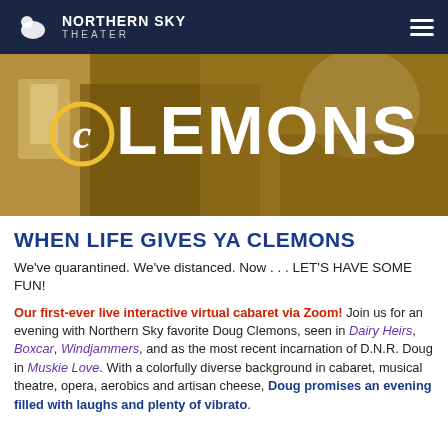NORTHERN SKY THEATER
[Figure (photo): Hero banner image showing a sepia-toned photo of a person with a glass, overlaid with the text 'CLEMONS' in large white letters with a stylized 'c' in a yellow circle]
WHEN LIFE GIVES YA CLEMONS
We've quarantined. We've distanced. Now . . . LET'S HAVE SOME FUN!
Our first-ever live interactive virtual cabaret via Zoom! Join us for an evening with Northern Sky favorite Doug Clemons, seen in Dairy Heirs, Boxcar, Windjammers, and as the most recent incarnation of D.N.R. Doug in Muskie Love. With a colorfully diverse background in cabaret, musical theatre, opera, aerobics and artisan cheese, Doug promises an evening filled with laughs and plenty of vibrato.